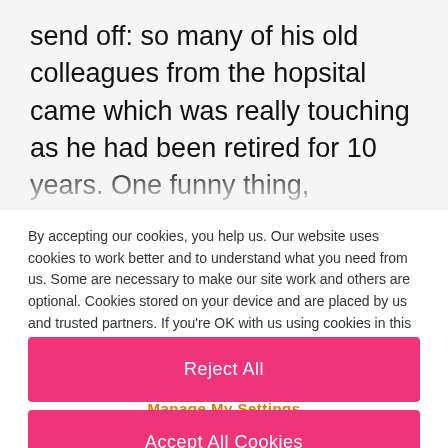send off: so many of his old colleagues from the hopsital came which was really touching as he had been retired for 10 years. One funny thing,
By accepting our cookies, you help us. Our website uses cookies to work better and to understand what you need from us. Some are necessary to make our site work and others are optional. Cookies stored on your device and are placed by us and trusted partners. If you're OK with us using cookies in this way, please accept the recommended settings. View our Cookie Policy
Manage My Settings
Reject All
Accept All Cookies